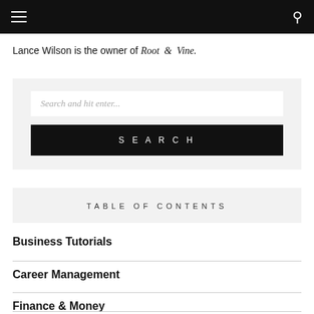Navigation bar with hamburger menu and search icon
Lance Wilson is the owner of Root & Vine.
[Figure (screenshot): Search widget with text input placeholder 'Search and hit enter...' and a black SEARCH button]
TABLE OF CONTENTS
Business Tutorials
Career Management
Finance & Money